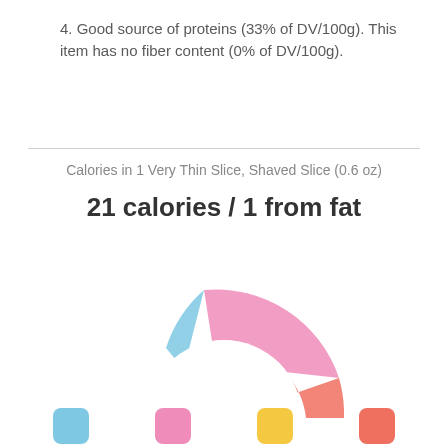4. Good source of proteins (33% of DV/100g). This item has no fiber content (0% of DV/100g).
Calories in 1 Very Thin Slice, Shaved Slice (0.6 oz)
21 calories / 1 from fat
[Figure (donut-chart): Partial donut/pie chart showing macronutrient breakdown for 1 Very Thin Slice. Blue segment (protein), large pink segment (carbs), small orange segment (fat). Chart is a half-ring shape covering roughly upper-right quarter.]